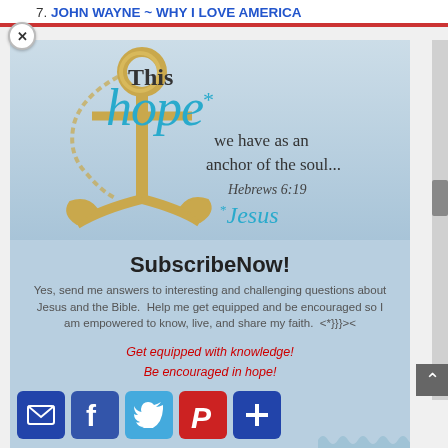7. JOHN WAYNE ~ WHY I LOVE AMERICA
[Figure (illustration): Illustrated image with a golden anchor, text overlay reading 'This hope* we have as an anchor of the soul... Hebrews 6:19 *Jesus' on a light blue background, with 'hope' in large italic teal font]
SubscribeNow!
Yes, send me answers to interesting and challenging questions about Jesus and the Bible.  Help me get equipped and be encouraged so I am empowered to know, live, and share my faith.  <*}}}><
Get equipped with knowledge!
Be encouraged in hope!
Live empowered with love!